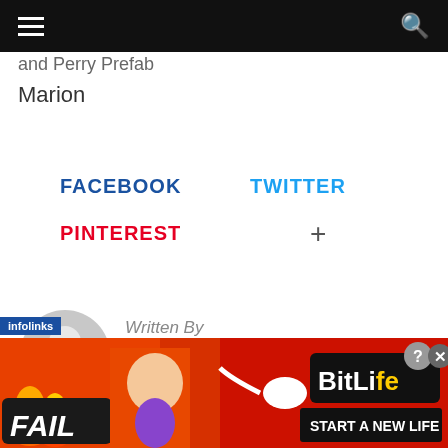≡  [search icon]
and Perry Prefab
Marion
FACEBOOK
TWITTER
PINTEREST
+
[Figure (illustration): Default user avatar - grey circle with white person silhouette]
Written By
Hillsboro Free Press
[Figure (infographic): BitLife advertisement banner - orange/red background with FAIL text, cartoon character, flames, sperm icon, and BitLife logo with START A NEW LIFE text]